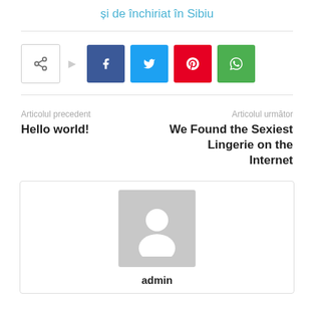și de închiriat în Sibiu
[Figure (infographic): Social share buttons: share icon, Facebook, Twitter, Pinterest, WhatsApp]
Articolul precedent
Hello world!
Articolul următor
We Found the Sexiest Lingerie on the Internet
[Figure (photo): Author box with placeholder avatar image and name 'admin']